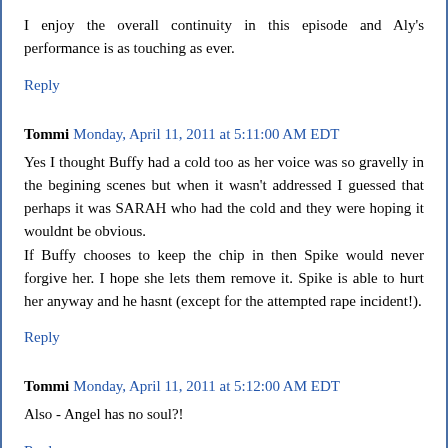I enjoy the overall continuity in this episode and Aly's performance is as touching as ever.
Reply
Tommi  Monday, April 11, 2011 at 5:11:00 AM EDT
Yes I thought Buffy had a cold too as her voice was so gravelly in the begining scenes but when it wasn't addressed I guessed that perhaps it was SARAH who had the cold and they were hoping it wouldnt be obvious.
If Buffy chooses to keep the chip in then Spike would never forgive her. I hope she lets them remove it. Spike is able to hurt her anyway and he hasnt (except for the attempted rape incident!).
Reply
Tommi  Monday, April 11, 2011 at 5:12:00 AM EDT
Also - Angel has no soul?!
Reply